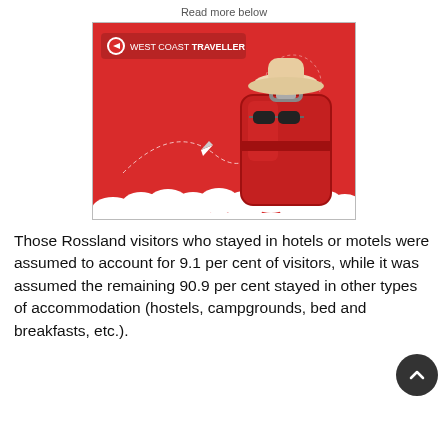Read more below
[Figure (illustration): West Coast Traveller advertisement showing a red suitcase with sunglasses and a hat against a red background with white clouds and a small paper airplane. Logo reads 'WEST COAST TRAVELLER'.]
Those Rossland visitors who stayed in hotels or motels were assumed to account for 9.1 per cent of visitors, while it was assumed the remaining 90.9 per cent stayed in other types of accommodation (hostels, campgrounds, bed and breakfasts, etc.).